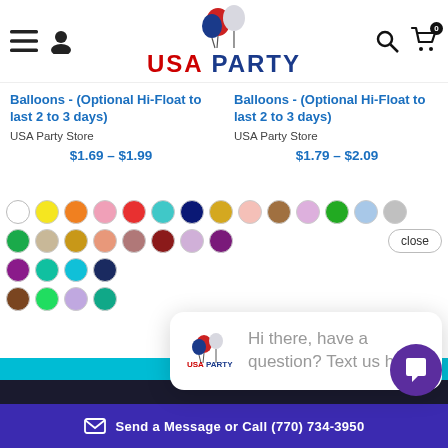[Figure (screenshot): USA Party Store website header with logo (red USA PARTY text with balloons), hamburger menu, user icon, search and cart icons]
Balloons - (Optional Hi-Float to last 2 to 3 days)
USA Party Store
$1.69 – $1.99
Balloons - (Optional Hi-Float to last 2 to 3 days)
USA Party Store
$1.79 – $2.09
[Figure (other): Color swatches showing balloon color options: white, yellow, orange, pink, red, teal, navy, gold, light pink, brown, lavender, green, light blue, gray, green, beige, dark yellow, peach, mauve, dark red, light purple, purple, purple, teal, cyan, navy, brown, green, light purple, teal]
close
[Figure (other): Chat popup with USA Party logo and text: Hi there, have a question? Text us here.]
Send a Message or Call (770) 734-3950